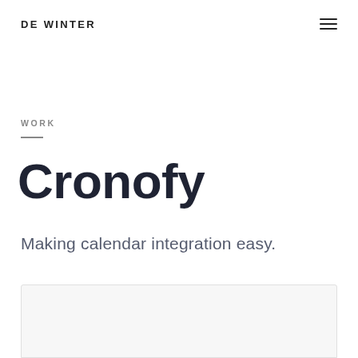DE WINTER
WORK
Cronofy
Making calendar integration easy.
[Figure (screenshot): Partially visible white/light gray screenshot or image box at the bottom of the page]